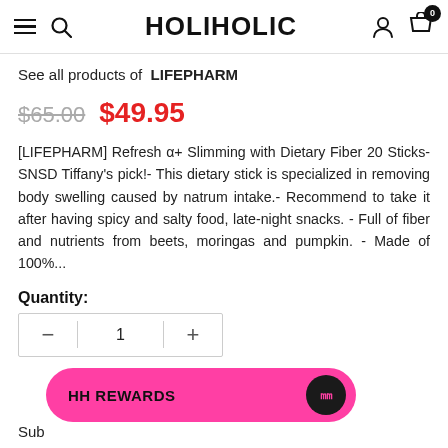HOLIHOLIC
See all products of  LIFEPHARM
$65.00  $49.95
[LIFEPHARM] Refresh α+ Slimming with Dietary Fiber 20 Sticks- SNSD Tiffany's pick!- This dietary stick is specialized in removing body swelling caused by natrum intake.- Recommend to take it after having spicy and salty food, late-night snacks. - Full of fiber and nutrients from beets, moringas and pumpkin. - Made of 100%...
Quantity:
1
HH REWARDS